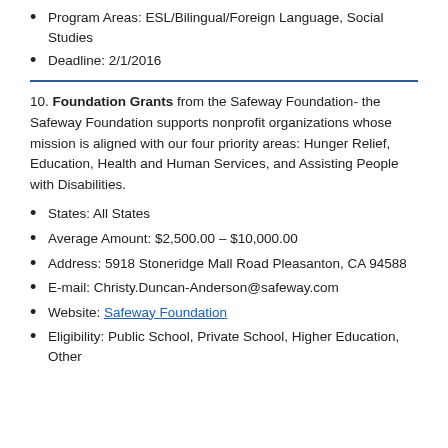Program Areas: ESL/Bilingual/Foreign Language, Social Studies
Deadline: 2/1/2016
10. Foundation Grants from the Safeway Foundation- the Safeway Foundation supports nonprofit organizations whose mission is aligned with our four priority areas: Hunger Relief, Education, Health and Human Services, and Assisting People with Disabilities.
States: All States
Average Amount: $2,500.00 – $10,000.00
Address: 5918 Stoneridge Mall Road Pleasanton, CA 94588
E-mail: Christy.Duncan-Anderson@safeway.com
Website: Safeway Foundation
Eligibility: Public School, Private School, Higher Education, Other